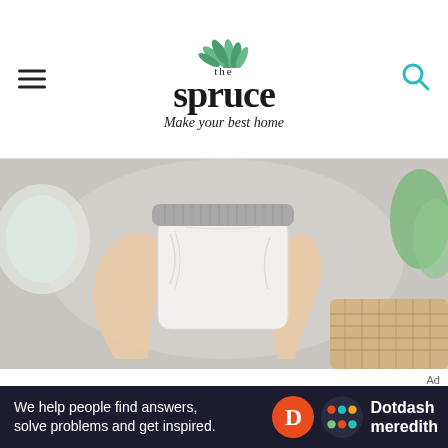the spruce — Make your best home
[Figure (photo): Two hands holding a white square jar with a silver lid, placed on a light gray surface with a plant and wicker mat in the background.]
02 Let It Sit
Let the rubbing alcohol sit for five
[Figure (other): Advertisement bar: 'We help people find answers, solve problems and get inspired.' Dotdash Meredith logo.]